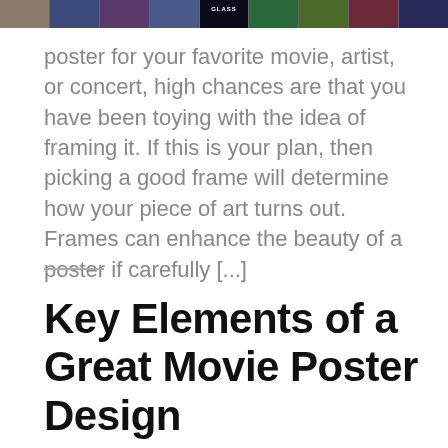[Figure (photo): A horizontal strip of movie poster thumbnail images at the top of the page]
poster for your favorite movie, artist, or concert, high chances are that you have been toying with the idea of framing it. If this is your plan, then picking a good frame will determine how your piece of art turns out. Frames can enhance the beauty of a poster if carefully [...]
Key Elements of a Great Movie Poster Design